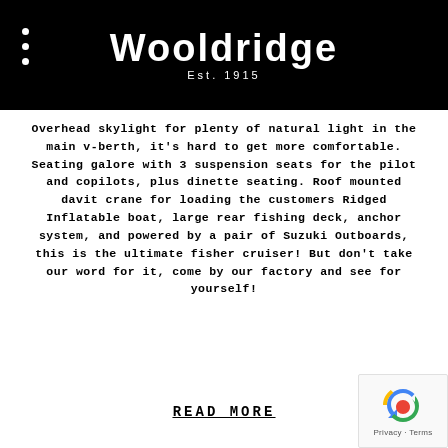Wooldridge Est. 1915
Overhead skylight for plenty of natural light in the main v-berth, it's hard to get more comfortable. Seating galore with 3 suspension seats for the pilot and copilots, plus dinette seating. Roof mounted davit crane for loading the customers Ridged Inflatable boat, large rear fishing deck, anchor system, and powered by a pair of Suzuki Outboards, this is the ultimate fisher cruiser! But don't take our word for it, come by our factory and see for yourself!
READ MORE